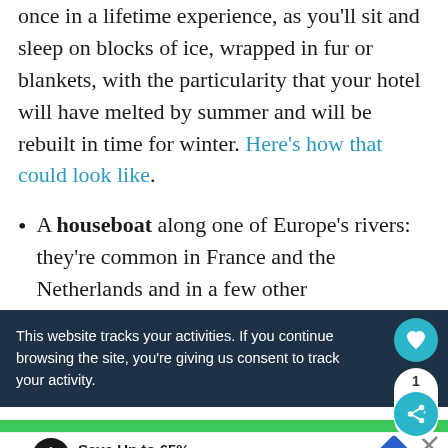once in a lifetime experience, as you'll sit and sleep on blocks of ice, wrapped in fur or blankets, with the particularity that your hotel will have melted by summer and will be rebuilt in time for winter. Here's how that could look like.
A houseboat along one of Europe's rivers: they're common in France and the Netherlands and in a few other
This website tracks your activities. If you continue browsing the site, you're giving us consent to track your activity.
Save Up to 65%
Leesburg Premium Outlets